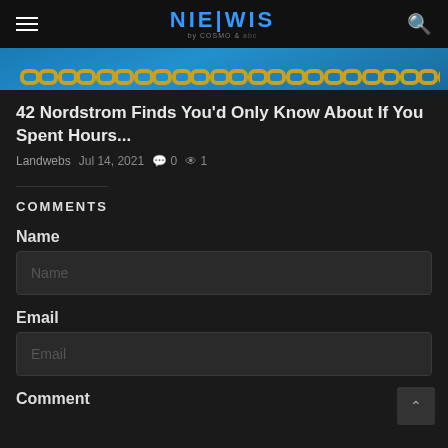NIEWIS
[Figure (photo): Close-up of gold chain jewelry against blue background — hero image strip]
42 Nordstrom Finds You'd Only Know About If You Spent Hours...
Landwebs  Jul 14, 2021  🗨 0  👁 1
COMMENTS
Name
Name (input placeholder)
Email
Email (input placeholder)
Comment